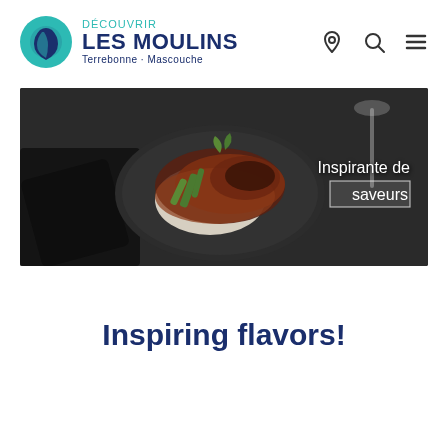[Figure (logo): Découvrir Les Moulins logo with teal/blue circular icon, text 'DÉCOUVRIR LES MOULINS' and subtitle 'Terrebonne · Mascouche']
[Figure (photo): Banner photo of a gourmet dish (braised meat with vegetables on a dark plate) with text overlay 'Inspirante de saveurs']
Inspiring flavors!